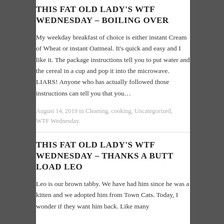THIS FAT OLD LADY'S WTF WEDNESDAY – BOILING OVER
My weekday breakfast of choice is either instant Cream of Wheat or instant Oatmeal. It's quick and easy and I like it. The package instructions tell you to put water and the cereal in a cup and pop it into the microwave. LIARS! Anyone who has actually followed those instructions can tell you that you…
August 14, 2019 in Cleaning, cooking, Uncategorized, WTF Wednesday.
THIS FAT OLD LADY'S WTF WEDNESDAY – THANKS A BUTT LOAD LEO
Leo is our brown tabby.  We have had him since he was a kitten and we adopted him from Town Cats. Today, I wonder if they want him back. Like many